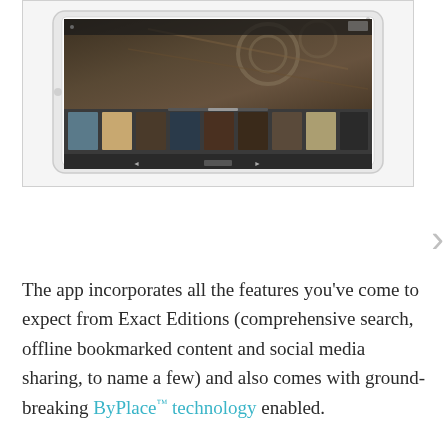[Figure (screenshot): iPad tablet mockup showing a magazine app with a photo spread open, displaying a thumbnail filmstrip of magazine pages at the bottom of the screen]
The app incorporates all the features you've come to expect from Exact Editions (comprehensive search, offline bookmarked content and social media sharing, to name a few) and also comes with ground-breaking ByPlace™ technology enabled.